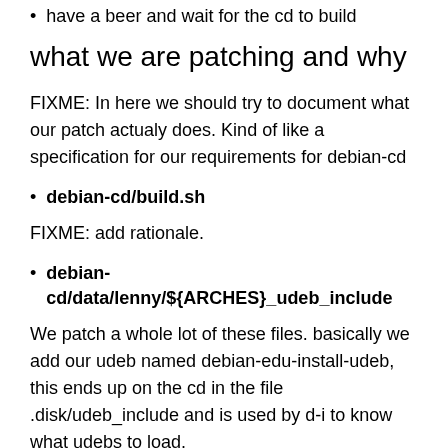have a beer and wait for the cd to build
what we are patching and why
FIXME: In here we should try to document what our patch actualy does. Kind of like a specification for our requirements for debian-cd
debian-cd/build.sh
FIXME: add rationale.
debian-cd/data/lenny/${ARCHES}_udeb_include
We patch a whole lot of these files. basically we add our udeb named debian-edu-install-udeb, this ends up on the cd in the file .disk/udeb_include and is used by d-i to know what udebs to load.